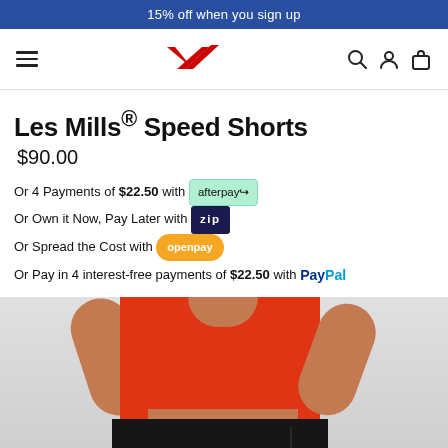15% off when you sign up
[Figure (logo): Reebok navigation bar with hamburger menu, Reebok vector logo in red, search icon, account icon, and bag icon]
Les Mills® Speed Shorts
$90.00
Or 4 Payments of $22.50 with afterpay
Or Own it Now, Pay Later with zip
Or Spread the Cost with openpay
Or Pay in 4 interest-free payments of $22.50 with PayPal
[Figure (photo): Man wearing red athletic tank top and black Les Mills Speed Shorts, photographed from waist up against a light grey background]